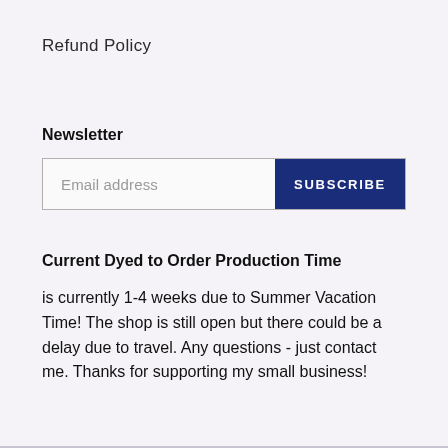Refund Policy
Newsletter
[Figure (other): Email subscription form with text input labeled 'Email address' and a navy blue SUBSCRIBE button]
Current Dyed to Order Production Time
is currently 1-4 weeks due to Summer Vacation Time! The shop is still open but there could be a delay due to travel. Any questions - just contact me. Thanks for supporting my small business!